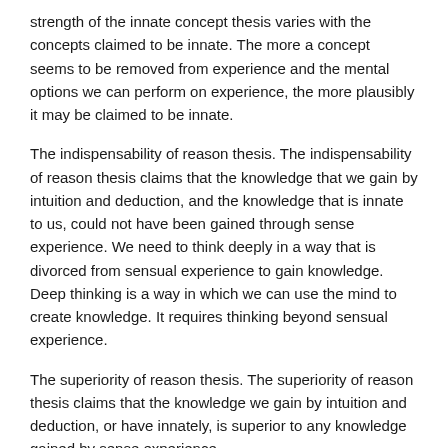strength of the innate concept thesis varies with the concepts claimed to be innate. The more a concept seems to be removed from experience and the mental options we can perform on experience, the more plausibly it may be claimed to be innate.
The indispensability of reason thesis. The indispensability of reason thesis claims that the knowledge that we gain by intuition and deduction, and the knowledge that is innate to us, could not have been gained through sense experience. We need to think deeply in a way that is divorced from sensual experience to gain knowledge. Deep thinking is a way in which we can use the mind to create knowledge. It requires thinking beyond sensual experience.
The superiority of reason thesis. The superiority of reason thesis claims that the knowledge we gain by intuition and deduction, or have innately, is superior to any knowledge gained by sense experience.
The intuition/deduction thesis, the innate knowledge thesis or the innate concept thesis are necessary for a paradigm to be rationalist. The indispensability of reason thesis and the superiority of reason thesis may also be adopted by rationalists, although they are not essential. Rational innate knowledge thesis and the superiority of reason thesis. This seems to be adopted